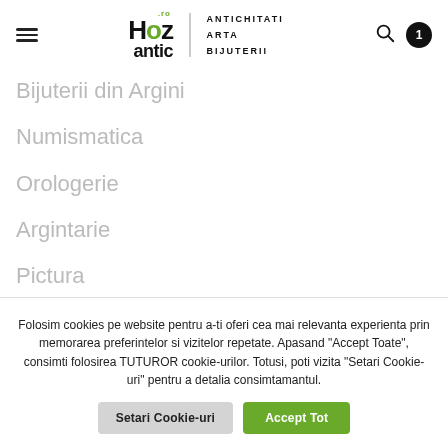Haz.ro ANTICHITATI ARTA BIJUTERII — navigation header with hamburger menu, logo, search icon, cart badge 1
Bijuterii din Argini
Numismatica
Orologerie
Argintarie
Pictura
Folosim cookies pe website pentru a-ti oferi cea mai relevanta experienta prin memorarea preferintelor si vizitelor repetate. Apasand "Accept Toate", consimti folosirea TUTUROR cookie-urilor. Totusi, poti vizita "Setari Cookie-uri" pentru a detalia consimtamantul.
Setari Cookie-uri | Accept Tot